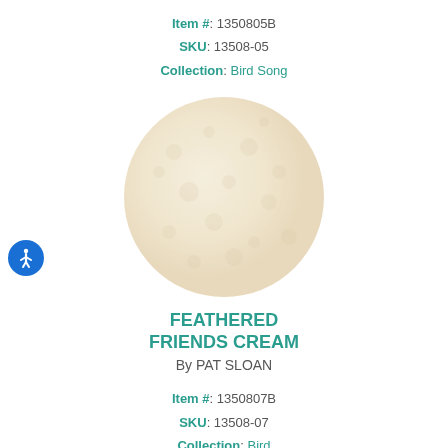Item #: 1350805B
SKU: 13508-05
Collection: Bird Song
[Figure (photo): Circular fabric swatch showing cream colored fabric with subtle floral/feather pattern]
FEATHERED FRIENDS CREAM
By PAT SLOAN
Item #: 1350807B
SKU: 13508-07
Collection: Bird